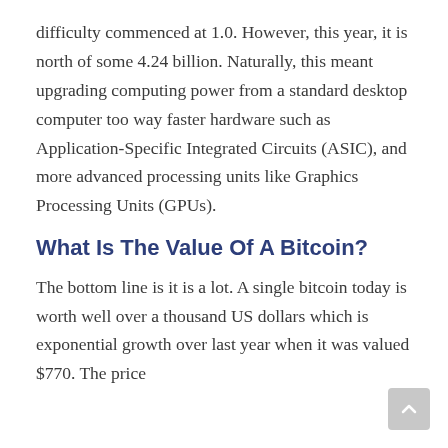difficulty commenced at 1.0. However, this year, it is north of some 4.24 billion. Naturally, this meant upgrading computing power from a standard desktop computer too way faster hardware such as Application-Specific Integrated Circuits (ASIC), and more advanced processing units like Graphics Processing Units (GPUs).
What Is The Value Of A Bitcoin?
The bottom line is it is a lot. A single bitcoin today is worth well over a thousand US dollars which is exponential growth over last year when it was valued $770. The price